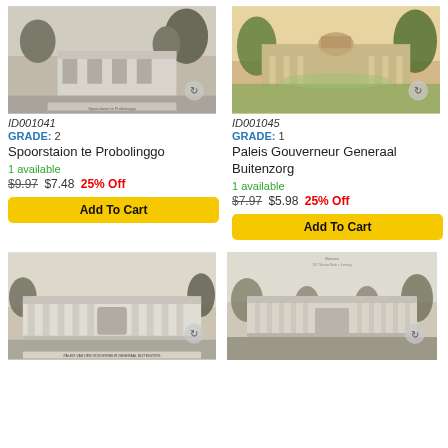[Figure (photo): Black and white postcard of Spoorstaion te Probolinggo, showing a building with trees]
ID001041
GRADE: 2
Spoorstaion te Probolinggo
1 available
$9.97 $7.48 25% Off
Add To Cart
[Figure (photo): Colorized postcard of Paleis Gouverneur Generaal Buitenzorg, showing a large building with gardens]
ID001045
GRADE: 1
Paleis Gouverneur Generaal Buitenzorg
1 available
$7.97 $5.98 25% Off
Add To Cart
[Figure (photo): Black and white postcard of a large colonial building with columns]
[Figure (photo): Black and white postcard of a large classical building with columns and trees]